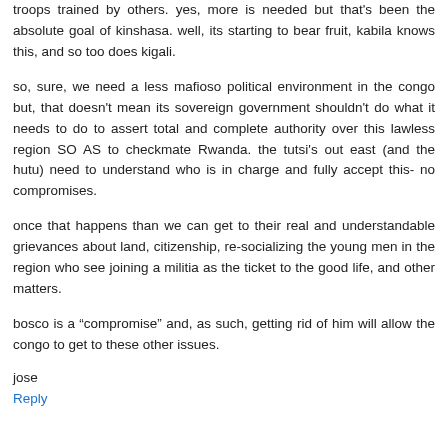troops trained by others. yes, more is needed but that's been the absolute goal of kinshasa. well, its starting to bear fruit, kabila knows this, and so too does kigali.
so, sure, we need a less mafioso political environment in the congo but, that doesn't mean its sovereign government shouldn't do what it needs to do to assert total and complete authority over this lawless region SO AS to checkmate Rwanda. the tutsi's out east (and the hutu) need to understand who is in charge and fully accept this- no compromises.
once that happens than we can get to their real and understandable grievances about land, citizenship, re-socializing the young men in the region who see joining a militia as the ticket to the good life, and other matters.
bosco is a “compromise” and, as such, getting rid of him will allow the congo to get to these other issues.
jose
Reply